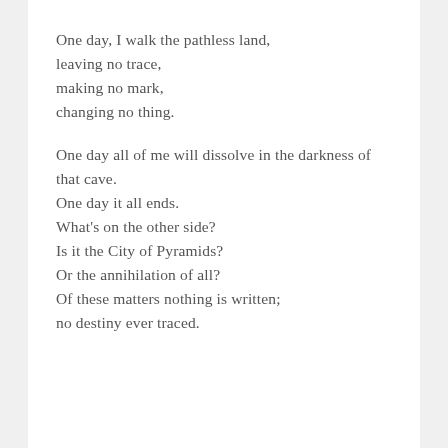One day, I walk the pathless land,
leaving no trace,
making no mark,
changing no thing.
One day all of me will dissolve in the darkness of that cave.
One day it all ends.
What's on the other side?
Is it the City of Pyramids?
Or the annihilation of all?
Of these matters nothing is written;
no destiny ever traced.